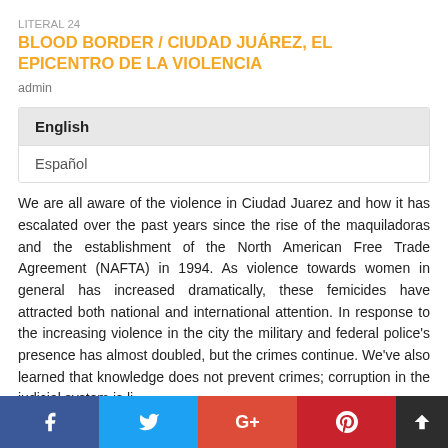LITERAL 24
BLOOD BORDER / CIUDAD JUÁREZ, EL EPICENTRO DE LA VIOLENCIA
admin
English
Español
We are all aware of the violence in Ciudad Juarez and how it has escalated over the past years since the rise of the maquiladoras and the establishment of the North American Free Trade Agreement (NAFTA) in 1994. As violence towards women in general has increased dramatically, these femicides have attracted both national and international attention. In response to the increasing violence in the city the military and federal police's presence has almost doubled, but the crimes continue. We've also learned that knowledge does not prevent crimes; corruption in the judicial system is li…
f  Twitter  G+  Pinterest  in